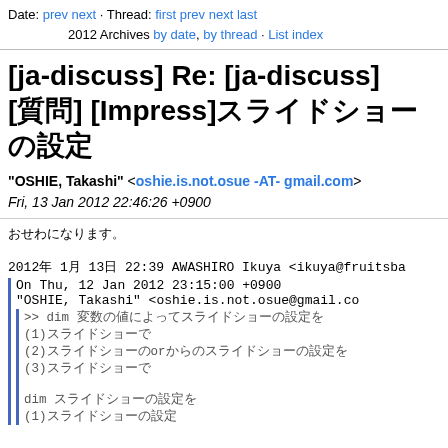Date: prev next · Thread: first prev next last
2012 Archives by date, by thread · List index
[ja-discuss] Re: [ja-discuss] [質問] [Impress]スライドショーの設定
"OSHIE, Takashi" <oshie.is.not.osue -AT- gmail.com>
Fri, 13 Jan 2012 22:46:26 +0900
おせわになります。

2012年 1月 13日 22:39 AWASHIRO Ikuya <ikuya@fruitsba
  On Thu, 12 Jan 2012 23:15:00 +0900
  "OSHIE, Takashi" <oshie.is.not.osue@gmail.co
    >> dim 変数の値によってスライドショーの設定を
    (1)スライドショーで
    (2)スライドショーのorかからのスライドショーの設定を
    (3)スライドショーで

    dim スライドショーの設定を
    (1)スライドショーの設定